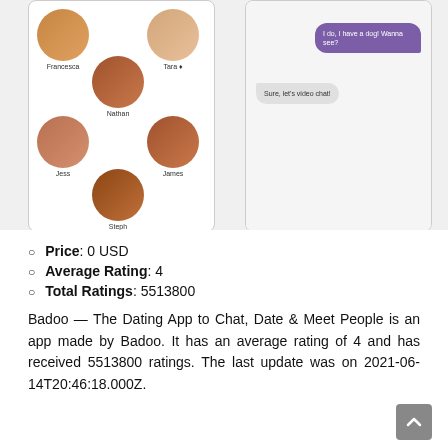[Figure (screenshot): Two mobile app screenshots: left shows a dating app contacts/matches grid with circular avatars labeled Francesca, Tara, Nathan, Jess, James, Steph; right shows a chat conversation with purple bubble 'I do, I have a dog! Wanna see?' and grey bubble 'Sure, let's video chat!']
Price: 0 USD
Average Rating: 4
Total Ratings: 5513800
Badoo — The Dating App to Chat, Date & Meet People is an app made by Badoo. It has an average rating of 4 and has received 5513800 ratings. The last update was on 2021-06-14T20:46:18.000Z.